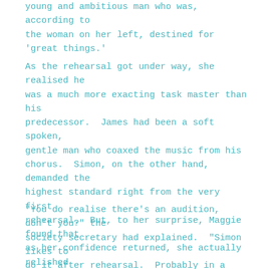young and ambitious man who was, according to the woman on her left, destined for 'great things.'
As the rehearsal got under way, she realised he was a much more exacting task master than his predecessor.  James had been a soft spoken, gentle man who coaxed the music from his chorus.  Simon, on the other hand, demanded the highest standard right from the very first rehearsal.  But, to her surprise, Maggie found that as her confidence returned, she actually relished the challenge.
"You do realise there's an audition, don't you?" the society secretary had explained.  "Simon likes to do it after rehearsal.  Probably in a week or two.  Is that ok?"